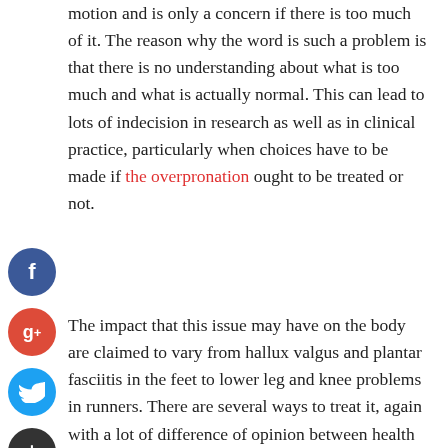motion and is only a concern if there is too much of it. The reason why the word is such a problem is that there is no understanding about what is too much and what is actually normal. This can lead to lots of indecision in research as well as in clinical practice, particularly when choices have to be made if the overpronation ought to be treated or not.
The impact that this issue may have on the body are claimed to vary from hallux valgus and plantar fasciitis in the feet to lower leg and knee problems in runners. There are several ways to treat it, again with a lot of difference of opinion between health care professionals regarding the best way to treat it. Rationally dealing with the overpronation should be geared towards the cause and here is no such thing as a one size fits all. When the condition is caused by tight calf muscles, then stretches of those tight muscles would be the reasonable method. When the problem is the control of muscles at the hip, then the therapy really should be geared towards that. If the condition is caused by poor foot mechanics, then that is the
[Figure (other): Social media share buttons: Facebook (blue circle with f), Google+ (red circle with g+), Twitter (blue circle with bird icon), Add/More (dark circle with + icon)]